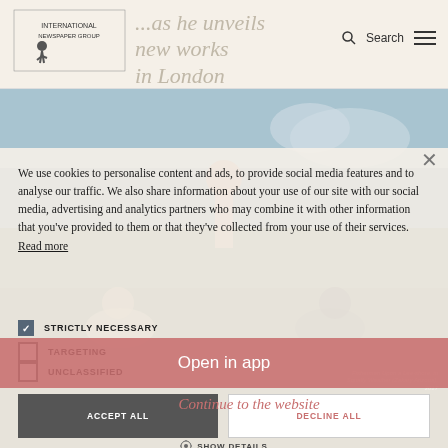Search
...as he unveils new works in London
[Figure (photo): Background photo showing two people in an outdoor scene, partially visible behind cookie consent overlay]
Fishermen Upon a Lee-shore, in Squally Weather (Zakary Arizona), 2017
We use cookies to personalise content and ads, to provide social media features and to analyse our traffic. We also share information about your use of our site with our social media, advertising and analytics partners who may combine it with other information that you've provided to them or that they've collected from your use of their services. Read more
STRICTLY NECESSARY
TARGETING
UNCLASSIFIED
Open in app
ACCEPT ALL
Continue to the website
DECLINE ALL
SHOW DETAILS